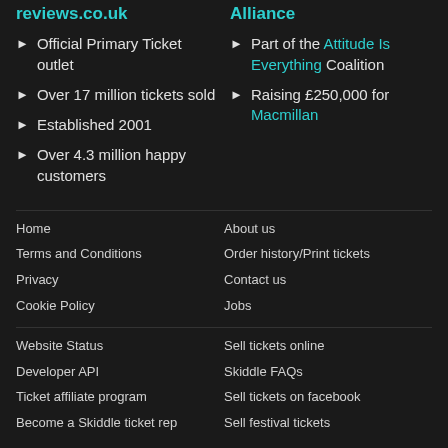reviews.co.uk
Alliance
Official Primary Ticket outlet
Part of the Attitude Is Everything Coalition
Over 17 million tickets sold
Raising £250,000 for Macmillan
Established 2001
Over 4.3 million happy customers
Home
About us
Terms and Conditions
Order history/Print tickets
Privacy
Contact us
Cookie Policy
Jobs
Website Status
Sell tickets online
Developer API
Skiddle FAQs
Ticket affiliate program
Sell tickets on facebook
Become a Skiddle ticket rep
Sell festival tickets